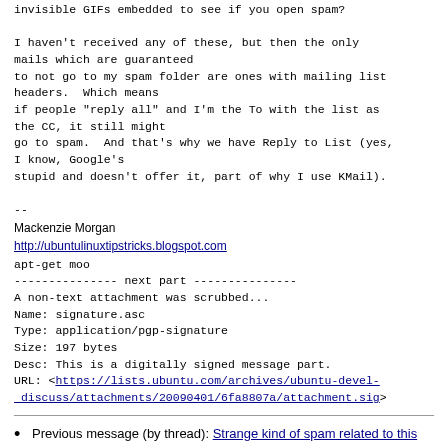invisible GIFs embedded to see if you open spam?

I haven't received any of these, but then the only mails which are guaranteed
to not go to my spam folder are ones with mailing list headers.  Which means
if people "reply all" and I'm the To with the list as the CC, it still might
go to spam.  And that's why we have Reply to List (yes, I know, Google's
stupid and doesn't offer it, part of why I use KMail).

--
Mackenzie Morgan
http://ubuntulinuxtipstricks.blogspot.com
apt-get moo
--------------- next part ---------------
A non-text attachment was scrubbed...
Name: signature.asc
Type: application/pgp-signature
Size: 197 bytes
Desc: This is a digitally signed message part.
URL: <https://lists.ubuntu.com/archives/ubuntu-devel-discuss/attachments/20090401/6fa8807a/attachment.sig>
Previous message (by thread): Strange kind of spam related to this list
Next message (by thread): Strange kind of spam related to this list